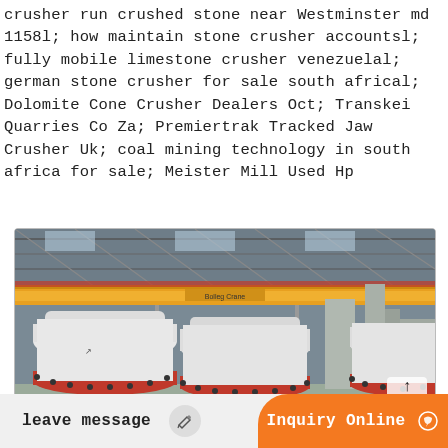crusher run crushed stone near Westminster md  1158l; how maintain stone crusher accountsl; fully mobile limestone crusher venezuelal; german stone crusher for sale south africal; Dolomite Cone Crusher Dealers Oct; Transkei Quarries Co Za; Premiertrak Tracked Jaw Crusher Uk; coal mining technology in south africa for sale; Meister Mill Used Hp
[Figure (photo): Industrial factory interior showing large white cylindrical cone crusher machines with red bases arranged in a row, with an overhead yellow bridge crane visible above, and metal roof trusses in the background.]